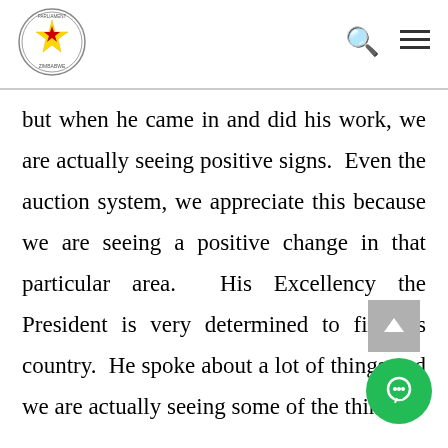Parliament of Zimbabwe - header with logo, search icon, and menu icon
but when he came in and did his work, we are actually seeing positive signs. Even the auction system, we appreciate this because we are seeing a positive change in that particular area. His Excellency the President is very determined to fix this country. He spoke about a lot of things and we are actually seeing some of the things.

The whole nation is happy and even